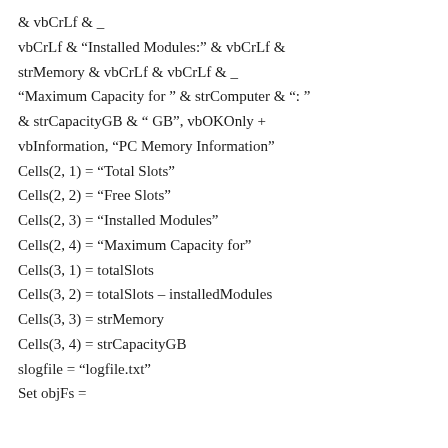& vbCrLf & _
vbCrLf & "Installed Modules:" & vbCrLf &
strMemory & vbCrLf & vbCrLf & _
"Maximum Capacity for " & strComputer & ": "
& strCapacityGB & " GB", vbOKOnly +
vbInformation, "PC Memory Information"
Cells(2, 1) = "Total Slots"
Cells(2, 2) = "Free Slots"
Cells(2, 3) = "Installed Modules"
Cells(2, 4) = "Maximum Capacity for"
Cells(3, 1) = totalSlots
Cells(3, 2) = totalSlots – installedModules
Cells(3, 3) = strMemory
Cells(3, 4) = strCapacityGB
slogfile = "logfile.txt"
Set objFs =